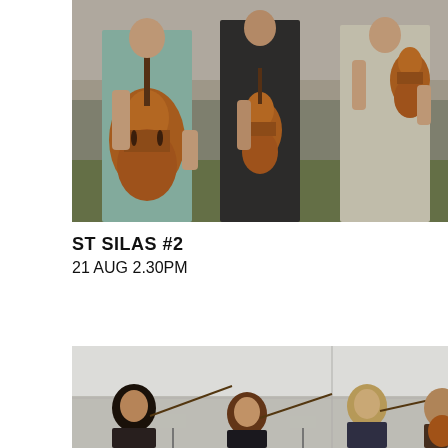[Figure (photo): Three people standing outdoors holding string instruments (cello, two violins/violas). They are wearing formal attire - one in teal/mint dress, one in dark outfit, one in light/cream outfit. Stone wall visible in background.]
ST SILAS #2
21 AUG 2.30PM
[Figure (photo): Four young musicians playing string instruments (violins) in what appears to be a rehearsal room with white walls. They are seated/standing and playing together.]